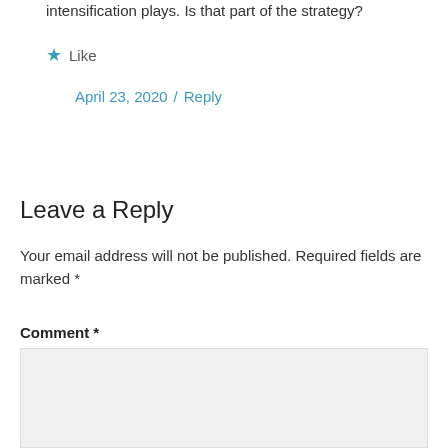intensification plays. Is that part of the strategy?
★ Like
April 23, 2020 / Reply
Leave a Reply
Your email address will not be published. Required fields are marked *
Comment *